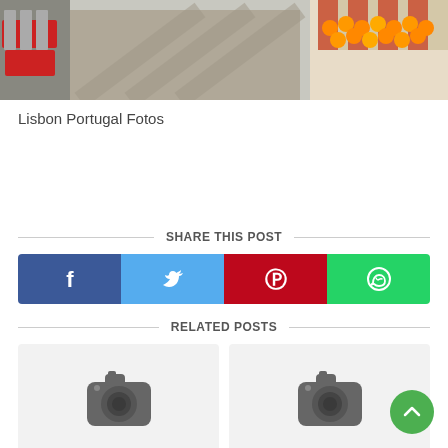[Figure (photo): Street scene in Lisbon Portugal with cobblestone road, outdoor restaurant tables with red tablecloths on the left and a fruit stand with oranges on the right]
Lisbon Portugal Fotos
SHARE THIS POST
[Figure (infographic): Social sharing buttons row: Facebook (dark blue with f icon), Twitter (light blue with bird icon), Pinterest (red with P icon), WhatsApp (green with phone icon)]
RELATED POSTS
[Figure (photo): Placeholder image with camera icon for related post]
[Figure (photo): Placeholder image with camera icon for related post]